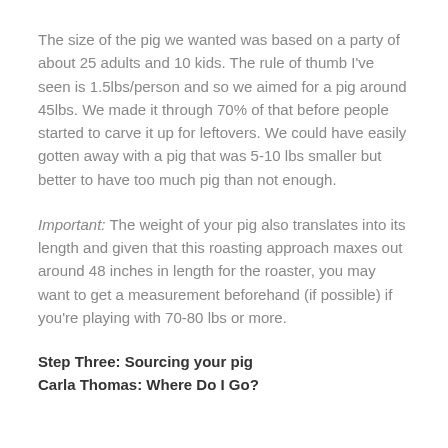The size of the pig we wanted was based on a party of about 25 adults and 10 kids. The rule of thumb I've seen is 1.5lbs/person and so we aimed for a pig around 45lbs. We made it through 70% of that before people started to carve it up for leftovers. We could have easily gotten away with a pig that was 5-10 lbs smaller but better to have too much pig than not enough.
Important: The weight of your pig also translates into its length and given that this roasting approach maxes out around 48 inches in length for the roaster, you may want to get a measurement beforehand (if possible) if you're playing with 70-80 lbs or more.
Step Three: Sourcing your pig
Carla Thomas: Where Do I Go?